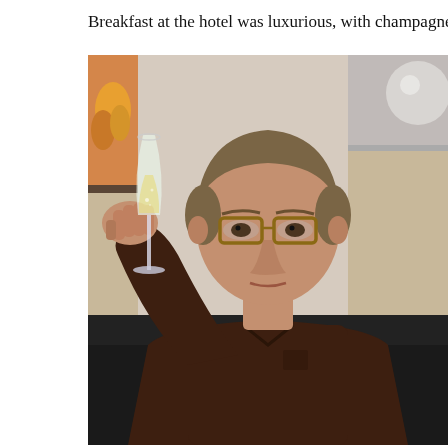Breakfast at the hotel was luxurious, with champagne served as
[Figure (photo): A middle-aged man with glasses and short brown-grey hair wearing a dark brown button-up shirt, seated in a restaurant booth with dark upholstery, raising a champagne flute toward the camera. Behind him are decorative wall art panels — one showing warm-toned objects (pumpkins/gourds) and another showing a grey-toned spherical object. The setting appears to be a hotel restaurant or bar.]